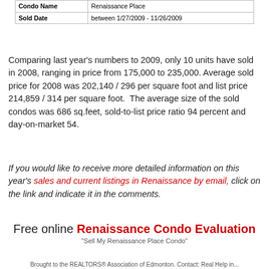| Condo Name | Renaissance Place |
| Sold Date | between 1/27/2009 - 11/26/2009 |
Comparing last year's numbers to 2009, only 10 units have sold in 2008, ranging in price from 175,000 to 235,000. Average sold price for 2008 was 202,140 / 296 per square foot and list price 214,859 / 314 per square foot.  The average size of the sold condos was 686 sq.feet, sold-to-list price ratio 94 percent and day-on-market 54.
If you would like to receive more detailed information on this year's sales and current listings in Renaissance by email, click on the link and indicate it in the comments.
Free online Renaissance Condo Evaluation
"Sell My Renaissance Place Condo"
Brought to the REALTORS® Association of Edmonton. Contact: Real Help in...